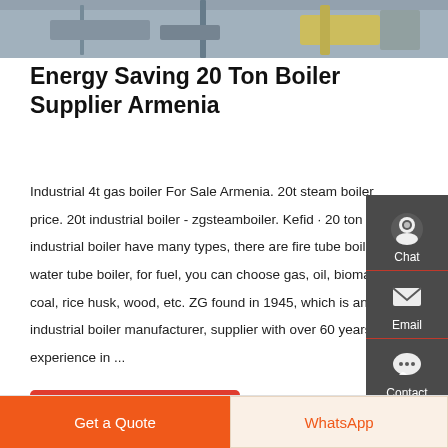[Figure (photo): Industrial boiler machinery photo strip showing equipment and yellow machinery in a factory setting]
Energy Saving 20 Ton Boiler Supplier Armenia
Industrial 4t gas boiler For Sale Armenia. 20t steam boiler price. 20t industrial boiler - zgsteamboiler. Kefid · 20 ton industrial boiler have many types, there are fire tube boiler, water tube boiler, for fuel, you can choose gas, oil, biomass, coal, rice husk, wood, etc. ZG found in 1945, which is an industrial boiler manufacturer, supplier with over 60 years experience in ...
[Figure (infographic): Sidebar with Chat, Email, and Contact icons on dark grey background]
Get a quote
Get a Quote
WhatsApp